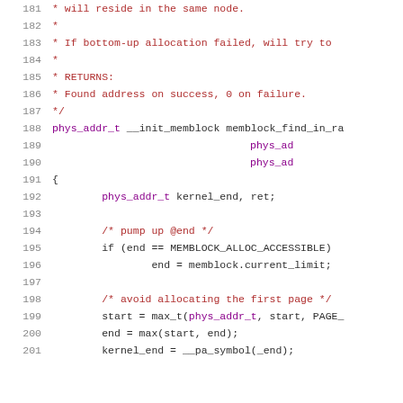Source code listing, lines 181-201, C kernel memory allocation code
181   * will reside in the same node.
182   *
183   * If bottom-up allocation failed, will try to
184   *
185   * RETURNS:
186   * Found address on success, 0 on failure.
187   */
188 phys_addr_t __init_memblock memblock_find_in_ra
189                                                    phys_ad
190                                                    phys_ad
191 {
192         phys_addr_t kernel_end, ret;
193
194         /* pump up @end */
195         if (end == MEMBLOCK_ALLOC_ACCESSIBLE)
196                 end = memblock.current_limit;
197
198         /* avoid allocating the first page */
199         start = max_t(phys_addr_t, start, PAGE_
200         end = max(start, end);
201         kernel_end = __pa_symbol(_end);